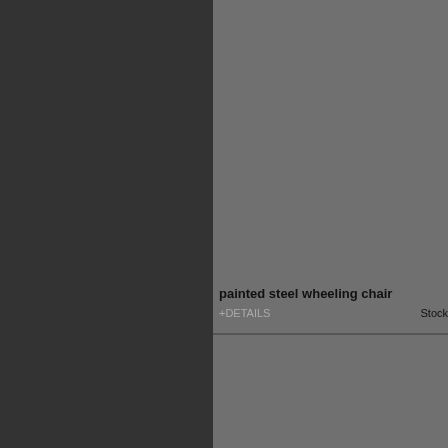[Figure (other): Dark left sidebar panel with dark charcoal background]
[Figure (other): Gray product image area top right]
painted steel wheeling chair
+DETAILS
Stock
[Figure (other): Gray product image area bottom right]